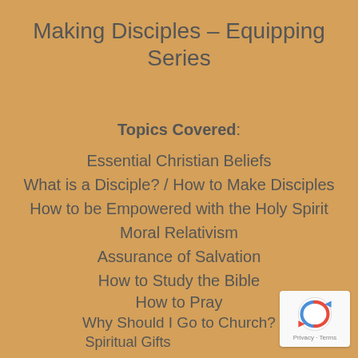Making Disciples – Equipping Series
Topics Covered:
Essential Christian Beliefs
What is a Disciple? / How to Make Disciples
How to be Empowered with the Holy Spirit
Moral Relativism
Assurance of Salvation
How to Study the Bible
How to Pray
Why Should I Go to Church?
Spiritual Gifts
How to Share Your Faith
[Figure (logo): reCAPTCHA logo with Privacy - Terms text]